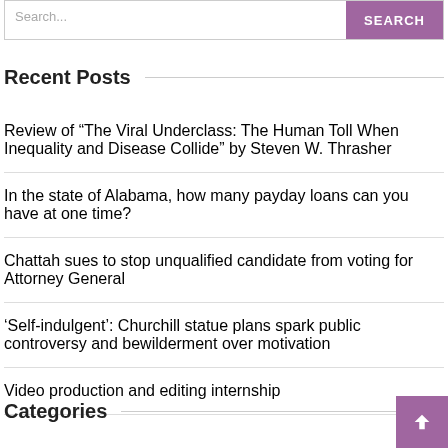Search...  SEARCH
Recent Posts
Review of “The Viral Underclass: The Human Toll When Inequality and Disease Collide” by Steven W. Thrasher
In the state of Alabama, how many payday loans can you have at one time?
Chattah sues to stop unqualified candidate from voting for Attorney General
‘Self-indulgent’: Churchill statue plans spark public controversy and bewilderment over motivation
Video production and editing internship
Categories